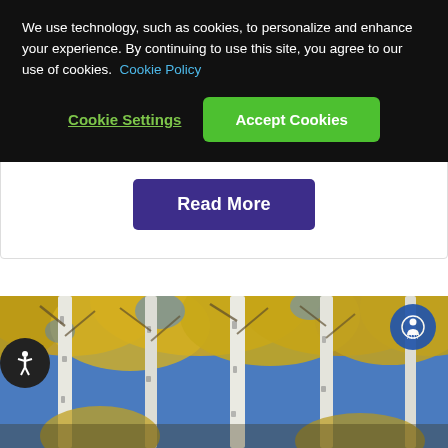We use technology, such as cookies, to personalize and enhance your experience. By continuing to use this site, you agree to our use of cookies. Cookie Policy
Cookie Settings | Accept Cookies
Everything you need to know
Learn everything about winter allergies, the common triggers and how Kleenex® Soothing Lotion™ tissues can help soothe the symptoms!
Read More
[Figure (photo): Photo of birch trees with yellow autumn leaves against a blue sky]